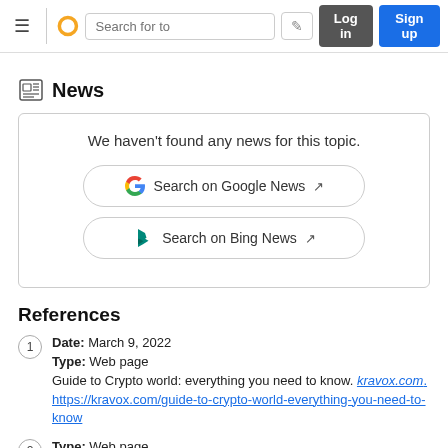≡ [logo] Search for to [edit] Log in Sign up
News
We haven't found any news for this topic.
Search on Google News ↗
Search on Bing News ↗
References
Date: March 9, 2022
Type: Web page
Guide to Crypto world: everything you need to know. kravox.com. https://kravox.com/guide-to-crypto-world-everything-you-need-to-know
Type: Web page
Cryptopedia. kravox.com. https://kravox.com/cryptopedia